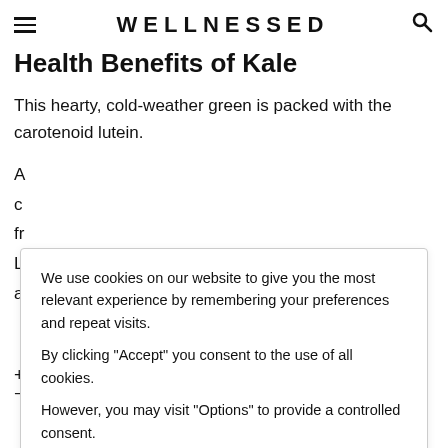WELLNESSED
Health Benefits of Kale
This hearty, cold-weather green is packed with the carotenoid lutein.
A
c
fr
L
a
We use cookies on our website to give you the most relevant experience by remembering your preferences and repeat visits.

By clicking "Accept" you consent to the use of all cookies.

However, you may visit "Options" to provide a controlled consent.
+